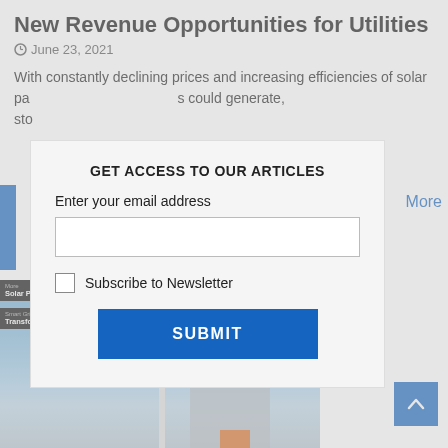New Revenue Opportunities for Utilities
June 23, 2021
With constantly declining prices and increasing efficiencies of solar pa... s could generate, sto
More
[Figure (photo): Wind turbine offshore installation with blue sky background]
Solar Power
Transformers
GET ACCESS TO OUR ARTICLES
Enter your email address
Subscribe to Newsletter
SUBMIT